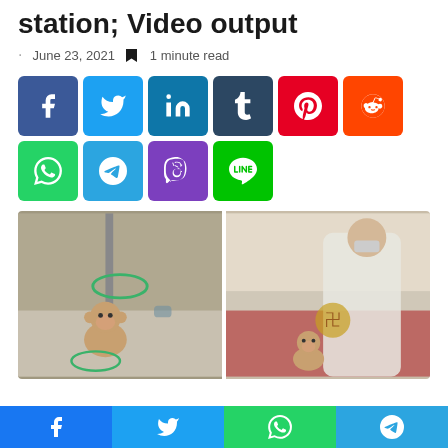station; Video output
June 23, 2021  1 minute read
[Figure (other): Social media share buttons: Facebook, Twitter, LinkedIn, Tumblr, Pinterest, Reddit, WhatsApp, Telegram, Viber, Line]
[Figure (photo): Two side-by-side video stills showing a monkey at what appears to be a metro station. Left image: monkey sitting on floor near social distancing markers. Right image: monkey sitting near a man wearing a white shirt inside a train or station.]
[Figure (other): Bottom share bar with Facebook, Twitter, WhatsApp, and Telegram buttons]